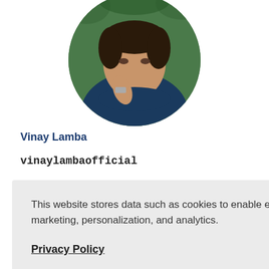[Figure (photo): Circular profile photo of a man in a dark blue shirt with his hand near his chin, green background]
Vinay Lamba
vinaylambaofficial
133710
This website stores data such as cookies to enable essential site functionality, as well as marketing, personalization, and analytics.
Privacy Policy
Accept
Deny